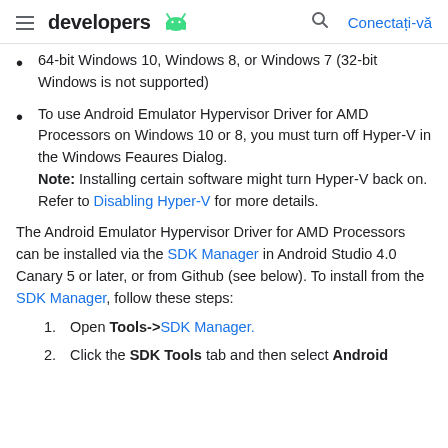developers [android logo] | [search icon] Conectați-vă
64-bit Windows 10, Windows 8, or Windows 7 (32-bit Windows is not supported)
To use Android Emulator Hypervisor Driver for AMD Processors on Windows 10 or 8, you must turn off Hyper-V in the Windows Feaures Dialog. Note: Installing certain software might turn Hyper-V back on. Refer to Disabling Hyper-V for more details.
The Android Emulator Hypervisor Driver for AMD Processors can be installed via the SDK Manager in Android Studio 4.0 Canary 5 or later, or from Github (see below). To install from the SDK Manager, follow these steps:
1. Open Tools->SDK Manager.
2. Click the SDK Tools tab and then select Android